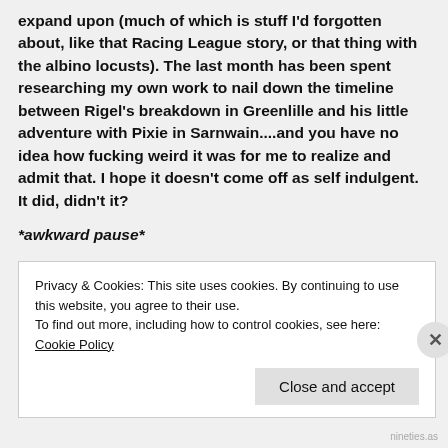expand upon (much of which is stuff I'd forgotten about, like that Racing League story, or that thing with the albino locusts). The last month has been spent researching my own work to nail down the timeline between Rigel's breakdown in Greenlille and his little adventure with Pixie in Sarnwain....and you have no idea how fucking weird it was for me to realize and admit that. I hope it doesn't come off as self indulgent. It did, didn't it?
*awkward pause*
Speaking of short stories, I've got one in the hopper. It's pretty much done, but I wanted to do an
Privacy & Cookies: This site uses cookies. By continuing to use this website, you agree to their use.
To find out more, including how to control cookies, see here: Cookie Policy
Close and accept
nineties.as